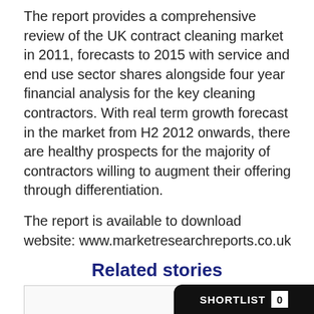The report provides a comprehensive review of the UK contract cleaning market in 2011, forecasts to 2015 with service and end use sector shares alongside four year financial analysis for the key cleaning contractors. With real term growth forecast in the market from H2 2012 onwards, there are healthy prospects for the majority of contractors willing to augment their offering through differentiation.
The report is available to download website: www.marketresearchreports.co.uk
Related stories